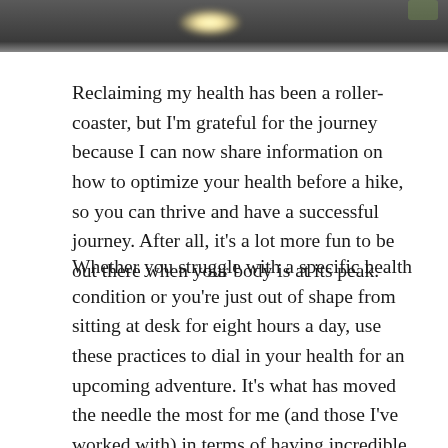[Figure (photo): A dark outdoor photo strip showing a rocky or earthy ground scene with a bright light source (sun or lens flare) visible in the upper center area, and a hint of green foliage at the right edge.]
Reclaiming my health has been a roller-coaster, but I'm grateful for the journey because I can now share information on how to optimize your health before a hike, so you can thrive and have a successful journey. After all, it's a lot more fun to be out there when your body is at its peak.
Whether you struggle with a specific health condition or you're just out of shape from sitting at desk for eight hours a day, use these practices to dial in your health for an upcoming adventure. It's what has moved the needle the most for me (and those I've worked with) in terms of having incredible energy, endurance, and resiliency on my next hike.